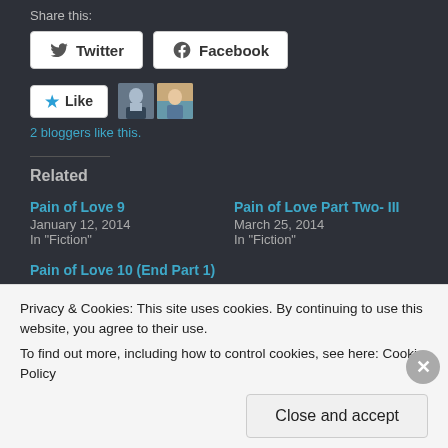Share this:
Twitter  Facebook
[Figure (other): Like button with star icon and two avatar thumbnails of bloggers]
2 bloggers like this.
Related
Pain of Love 9
January 12, 2014
In "Fiction"
Pain of Love Part Two- III
March 25, 2014
In "Fiction"
Pain of Love 10 (End Part 1)
January 13, 2014
Privacy & Cookies: This site uses cookies. By continuing to use this website, you agree to their use.
To find out more, including how to control cookies, see here: Cookie Policy
Close and accept